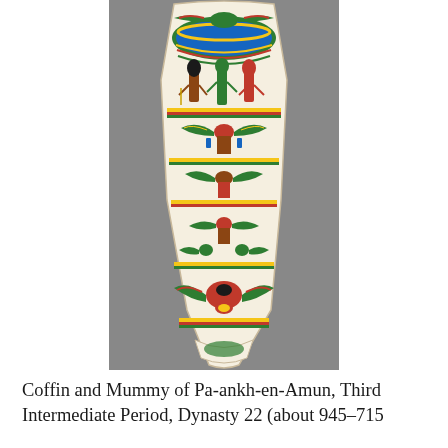[Figure (photo): Photograph of a decorated Egyptian mummy coffin (sarcophagus) showing colorful painted scenes of Egyptian deities, hieroglyphs, winged figures, and ornamental bands on a white background. The coffin tapers toward the feet end.]
Coffin and Mummy of Pa-ankh-en-Amun, Third Intermediate Period, Dynasty 22 (about 945–715